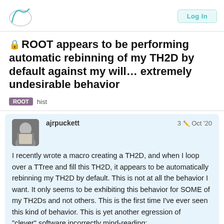ROOT forum header with logo and Log In button
🔒 ROOT appears to be performing automatic rebinning of my TH2D by default against my will… extremely undesirable behavior
ROOT   hist
ajrpuckett   3  Oct '20
I recently wrote a macro creating a TH2D, and when I loop over a TTree and fill this TH2D, it appears to be automatically rebinning my TH2D by default. This is not at all the behavior I want. It only seems to be exhibiting this behavior for SOME of my TH2Ds and not others. This is the first time I've ever seen this kind of behavior. This is yet another eg... of "clever" software incorrectly mind-reading;
1 / 5